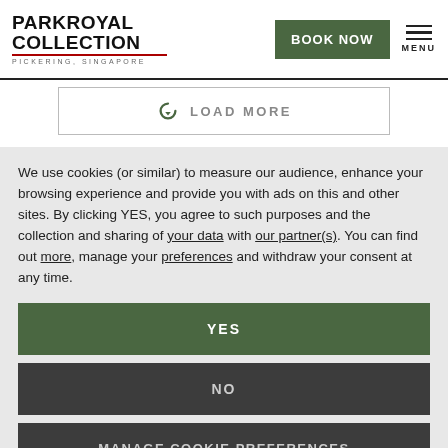[Figure (logo): PARKROYAL COLLECTION PICKERING, SINGAPORE logo with red underline]
LOAD MORE
We use cookies (or similar) to measure our audience, enhance your browsing experience and provide you with ads on this and other sites. By clicking YES, you agree to such purposes and the collection and sharing of your data with our partner(s). You can find out more, manage your preferences and withdraw your consent at any time.
YES
NO
MANAGE COOKIE PREFERENCES